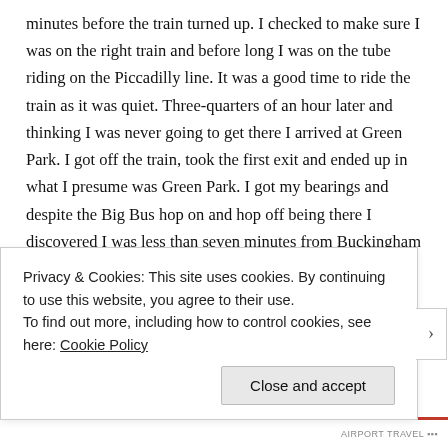minutes before the train turned up. I checked to make sure I was on the right train and before long I was on the tube riding on the Piccadilly line. It was a good time to ride the train as it was quiet. Three-quarters of an hour later and thinking I was never going to get there I arrived at Green Park. I got off the train, took the first exit and ended up in what I presume was Green Park. I got my bearings and despite the Big Bus hop on and hop off being there I discovered I was less than seven minutes from Buckingham Palace so I decided to walk.
The sun was brilliantly hot and Green Park was just gorgeous and green. The trees were heavy with
Privacy & Cookies: This site uses cookies. By continuing to use this website, you agree to their use.
To find out more, including how to control cookies, see here: Cookie Policy
Close and accept